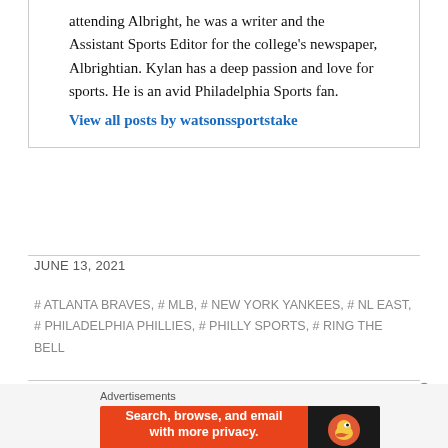attending Albright, he was a writer and the Assistant Sports Editor for the college's newspaper, Albrightian. Kylan has a deep passion and love for sports. He is an avid Philadelphia Sports fan.
View all posts by watsonssportstake
JUNE 13, 2021
# ATLANTA BRAVES, # MLB, # NEW YORK YANKEES, # NL EAST, # PHILADELPHIA PHILLIES, # PHILLY SPORTS, # RING THE BELL
[Figure (infographic): DuckDuckGo advertisement banner: orange background with text 'Search, browse, and email with more privacy. All in One Free App' and DuckDuckGo logo on black background on the right side.]
Advertisements